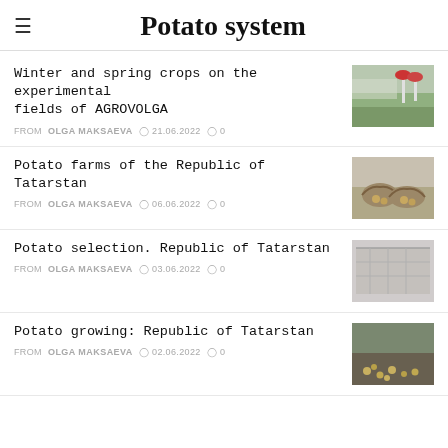Potato system
Winter and spring crops on the experimental fields of AGROVOLGA
FROM OLGA MAKSAEVA  21.06.2022  0
[Figure (photo): Photo of experimental agricultural fields with red flags]
Potato farms of the Republic of Tatarstan
FROM OLGA MAKSAEVA  06.06.2022  0
[Figure (photo): Photo of baskets filled with potatoes]
Potato selection. Republic of Tatarstan
FROM OLGA MAKSAEVA  03.06.2022  0
[Figure (photo): Photo of greenhouse or selection facility]
Potato growing: Republic of Tatarstan
FROM OLGA MAKSAEVA  02.06.2022  0
[Figure (photo): Photo of potato field with potatoes on ground]